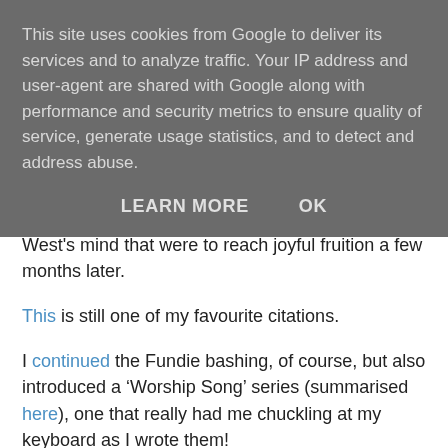This site uses cookies from Google to deliver its services and to analyze traffic. Your IP address and user-agent are shared with Google along with performance and security metrics to ensure quality of service, generate usage statistics, and to detect and address abuse.
LEARN MORE   OK
read the comments, ideas were brewing in Jim West's mind that were to reach joyful fruition a few months later.
This is still one of my favourite citations.
I continued the Fundie bashing, of course, but also introduced a 'Worship Song' series (summarised here), one that really had me chuckling at my keyboard as I wrote them!
Apart from various book and article reviews, Anja made another appearance here, the comments in this post made me smile, I conversed with iGod, promoted myself within my organisation, proved Ben Myers wrong on the question of 'Intelligent Design', pondered the virgin Birth, Pentecost and